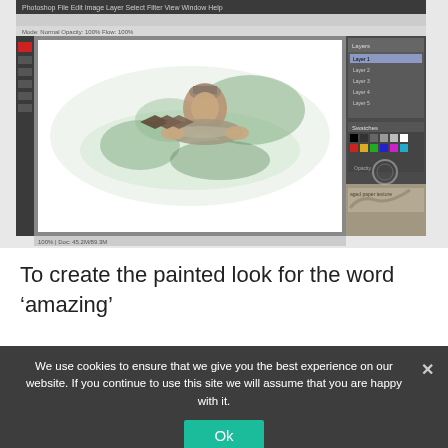[Figure (screenshot): Screenshot of Adobe Photoshop with a digital artwork showing a person holding a fish, surrounded by watercolor-style foliage and decorative chevron arrows. Photoshop panels (layers, brushes, etc.) are visible on the right side.]
To create the painted look for the word ‘amazing’
We use cookies to ensure that we give you the best experience on our website. If you continue to use this site we will assume that you are happy with it.